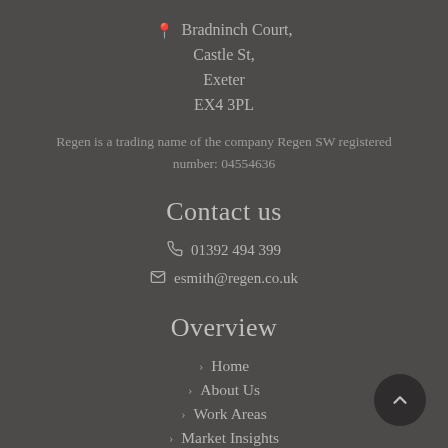📍 Bradninch Court, Castle St, Exeter EX4 3PL
Regen is a trading name of the company Regen SW registered number: 04554636
Contact us
📞 01392 494 399
✉ esmith@regen.co.uk
Overview
> Home
> About Us
> Work Areas
> Market Insights
> Membership